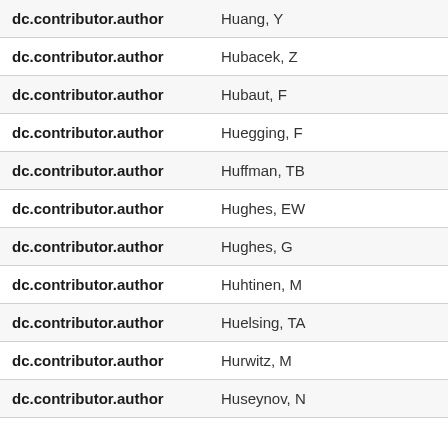| Field | Value |
| --- | --- |
| dc.contributor.author | Huang, Y |
| dc.contributor.author | Hubacek, Z |
| dc.contributor.author | Hubaut, F |
| dc.contributor.author | Huegging, F |
| dc.contributor.author | Huffman, TB |
| dc.contributor.author | Hughes, EW |
| dc.contributor.author | Hughes, G |
| dc.contributor.author | Huhtinen, M |
| dc.contributor.author | Huelsing, TA |
| dc.contributor.author | Hurwitz, M |
| dc.contributor.author | Huseynov, N |